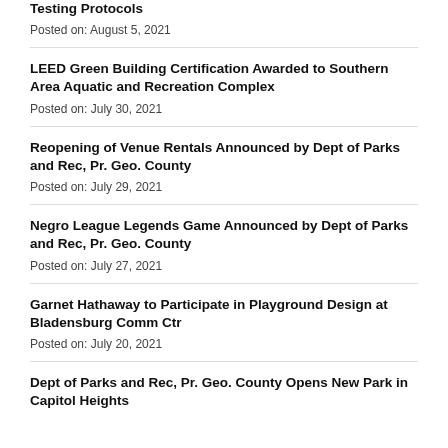Testing Protocols
Posted on: August 5, 2021
LEED Green Building Certification Awarded to Southern Area Aquatic and Recreation Complex
Posted on: July 30, 2021
Reopening of Venue Rentals Announced by Dept of Parks and Rec, Pr. Geo. County
Posted on: July 29, 2021
Negro League Legends Game Announced by Dept of Parks and Rec, Pr. Geo. County
Posted on: July 27, 2021
Garnet Hathaway to Participate in Playground Design at Bladensburg Comm Ctr
Posted on: July 20, 2021
Dept of Parks and Rec, Pr. Geo. County Opens New Park in Capitol Heights